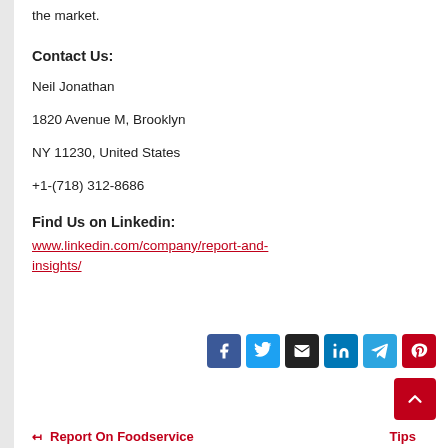the market.
Contact Us:
Neil Jonathan
1820 Avenue M, Brooklyn
NY 11230, United States
+1-(718) 312-8686
Find Us on Linkedin:
www.linkedin.com/company/report-and-insights/
[Figure (other): Social share buttons (Facebook, Twitter, Email, LinkedIn, Telegram, Pinterest) and a scroll-to-top button]
← Report On Foodservice   Tips